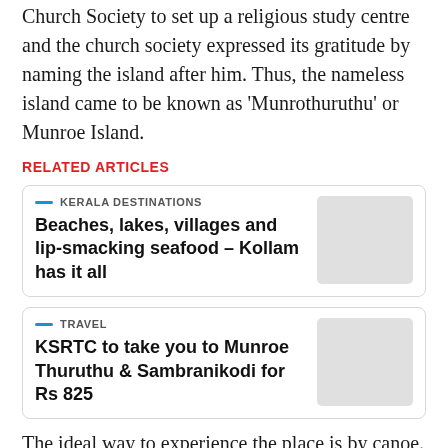Church Society to set up a religious study centre and the church society expressed its gratitude by naming the island after him. Thus, the nameless island came to be known as 'Munrothuruthu' or Munroe Island.
RELATED ARTICLES
KERALA DESTINATIONS — Beaches, lakes, villages and lip-smacking seafood – Kollam has it all
TRAVEL — KSRTC to take you to Munroe Thuruthu & Sambranikodi for Rs 825
The ideal way to experience the place is by canoe. However, tourists have to watch out for the low